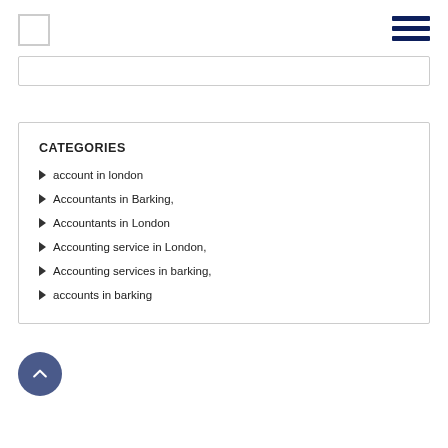CATEGORIES
account in london
Accountants in Barking,
Accountants in London
Accounting service in London,
Accounting services in barking,
accounts in barking